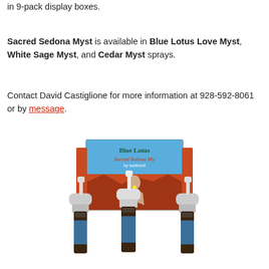in 9-pack display boxes.
Sacred Sedona Myst is available in Blue Lotus Love Myst, White Sage Myst, and Cedar Myst sprays.
Contact David Castiglione for more information at 928-592-8061 or by message.
[Figure (photo): Product photo showing Blue Lotus Sacred Sedona Myst spray bottles (3 brown glass bottles with white spray pump caps) in front of a Blue Lotus Sacred Sedona Myst product display box featuring Sedona red rock imagery and a woman figure.]